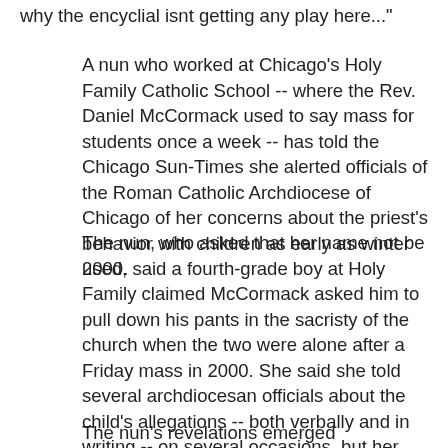why the encyclial isnt getting any play here..."
A nun who worked at Chicago's Holy Family Catholic School -- where the Rev. Daniel McCormack used to say mass for students once a week -- has told the Chicago Sun-Times she alerted officials of the Roman Catholic Archdiocese of Chicago of her concerns about the priest's behavior with children as early as winter 2000.
The nun, who asked that her name not be used, said a fourth-grade boy at Holy Family claimed McCormack asked him to pull down his pants in the sacristy of the church when the two were alone after a Friday mass in 2000. She said she told several archdiocesan officials about the child's allegations -- both verbally and in writing -- on several occasions, but her warnings went unheeded.
The nun's revelations emerged Wednesday as